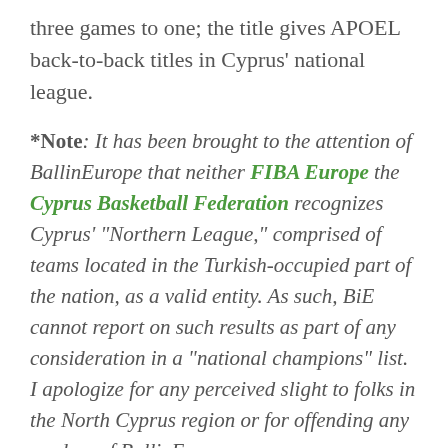three games to one; the title gives APOEL back-to-back titles in Cyprus' national league.
*Note: It has been brought to the attention of BallinEurope that neither FIBA Europe the Cyprus Basketball Federation recognizes Cyprus' "Northern League," comprised of teams located in the Turkish-occupied part of the nation, as a valid entity. As such, BiE cannot report on such results as part of any consideration in a "national champions" list. I apologize for any perceived slight to folks in the North Cyprus region or for offending any readers of BallinEurope.com.